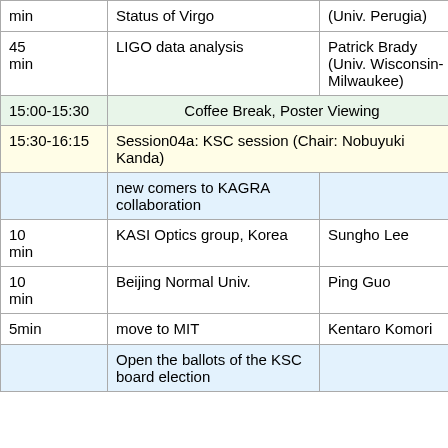| Duration | Title/Event | Speaker | Links |
| --- | --- | --- | --- |
| min | Status of Virgo | (Univ. Perugia) | 🌐 x |
| 45 min | LIGO data analysis | Patrick Brady (Univ. Wisconsin-Milwaukee) | 🌐 x |
| 15:00-15:30 | Coffee Break, Poster Viewing |  |  |
| 15:30-16:15 | Session04a: KSC session (Chair: Nobuyuki Kanda) |  |  |
|  | new comers to KAGRA collaboration |  |  |
| 10 min | KASI Optics group, Korea | Sungho Lee | 🌐 x |
| 10 min | Beijing Normal Univ. | Ping Guo | 🌐 x |
| 5min | move to MIT | Kentaro Komori | 🌐 x |
|  | Open the ballots of the KSC board election |  |  |